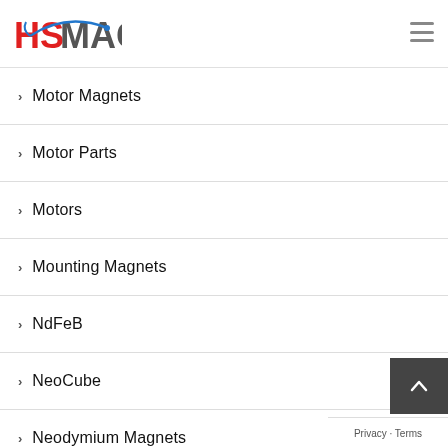HSMAG
Motor Magnets
Motor Parts
Motors
Mounting Magnets
NdFeB
NeoCube
Neodymium Magnets
Notice Board Magnets